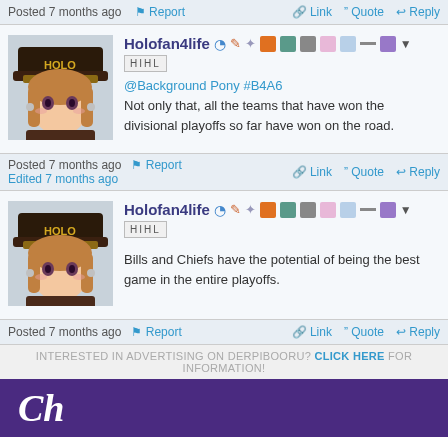Posted 7 months ago  Report  Link  Quote  Reply
[Figure (illustration): Anime character avatar wearing a dark hat with HOLO text]
Holofan4life
HIHL badge
@Background Pony #B4A6
Not only that, all the teams that have won the divisional playoffs so far have won on the road.
Posted 7 months ago  Report  Link  Quote  Reply
Edited 7 months ago
[Figure (illustration): Anime character avatar wearing a dark hat with HOLO text]
Holofan4life
HIHL badge
Bills and Chiefs have the potential of being the best game in the entire playoffs.
Posted 7 months ago  Report  Link  Quote  Reply
INTERESTED IN ADVERTISING ON DERPIBOORU? CLICK HERE FOR INFORMATION!
[Figure (photo): Purple advertisement banner with Ch text]